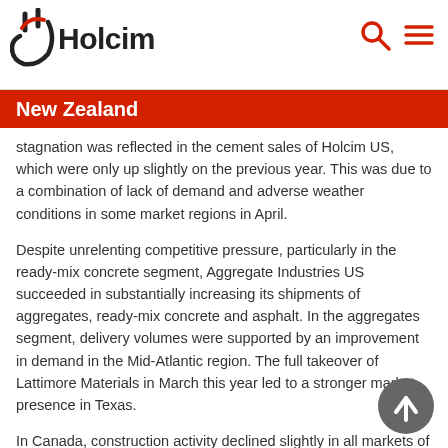Holcim
New Zealand
stagnation was reflected in the cement sales of Holcim US, which were only up slightly on the previous year. This was due to a combination of lack of demand and adverse weather conditions in some market regions in April.
Despite unrelenting competitive pressure, particularly in the ready-mix concrete segment, Aggregate Industries US succeeded in substantially increasing its shipments of aggregates, ready-mix concrete and asphalt. In the aggregates segment, delivery volumes were supported by an improvement in demand in the Mid-Atlantic region. The full takeover of Lattimore Materials in March this year led to a stronger market presence in Texas.
In Canada, construction activity declined slightly in all markets of relevance to Holcim. Project delays and bad weather impacted road building, and residential construction in Ontario. Holcim Canada therefore sold less cement, ready-mix concrete and